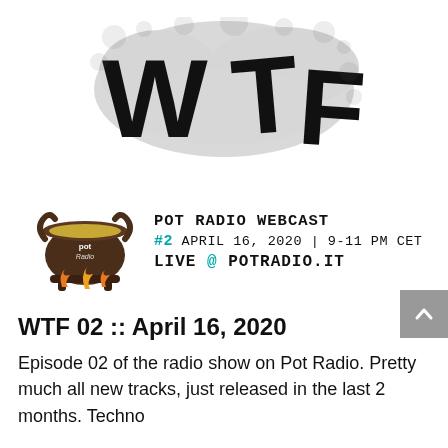[Figure (logo): WTF graffiti/spray-paint style logo in large black distressed letters on white background]
[Figure (illustration): Pot Radio Webcast promotional graphic: cauldron pot radio logo on left, text on right reading 'POT RADIO WEBCAST #2 APRIL 16, 2020 | 9-11 PM CET LIVE @ POTRADIO.IT']
WTF 02 :: April 16, 2020
Episode 02 of the radio show on Pot Radio. Pretty much all new tracks, just released in the last 2 months. Techno